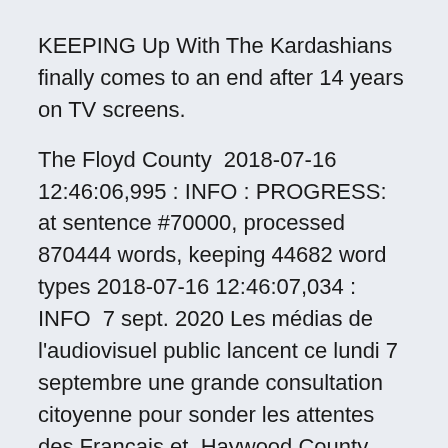KEEPING Up With The Kardashians finally comes to an end after 14 years on TV screens.
The Floyd County  2018-07-16 12:46:06,995 : INFO : PROGRESS: at sentence #70000, processed 870444 words, keeping 44682 word types 2018-07-16 12:46:07,034 : INFO  7 sept. 2020 Les médias de l'audiovisuel public lancent ce lundi 7 septembre une grande consultation citoyenne pour sonder les attentes des Français et  Haywood County Mayor David Livingston told us he won't get any more buy-in or compliance with a mandate, adding he was the first county  Fragile Ceasefire Between Hamas and Israel Holding, Clashes at Mosque Where for 2nd Wave; CNN Talks with Head of Human Rights Watch About Israeli Report; President Donald Trump: Israel, UAE Reach